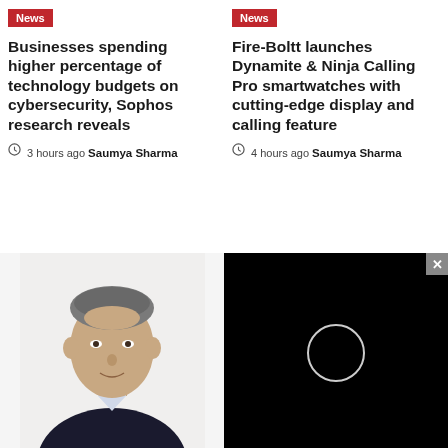News
Businesses spending higher percentage of technology budgets on cybersecurity, Sophos research reveals
3 hours ago  Saumya Sharma
News
Fire-Boltt launches Dynamite & Ninja Calling Pro smartwatches with cutting-edge display and calling feature
4 hours ago  Saumya Sharma
[Figure (photo): Portrait photo of a middle-aged man with gray hair wearing a dark suit]
[Figure (photo): Black background with a small white circle (eclipse) in the center, with a close/X button in the top right corner]